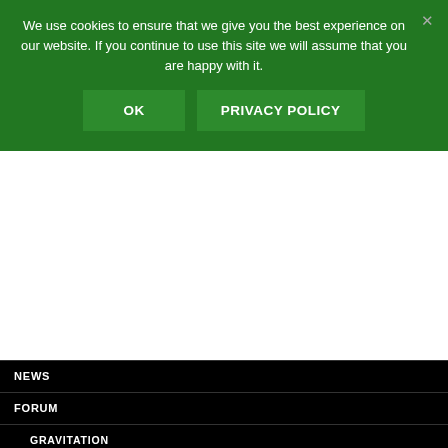We use cookies to ensure that we give you the best experience on our website. If you continue to use this site we will assume that you are happy with it.
OK
PRIVACY POLICY
NEWS
FORUM
GRAVITATION
THEORY
HISTORICAL REVIEW OF PHYSICAL THEORIES (ENG)
PROGNOSES OF COMPOSITE PARTICLES